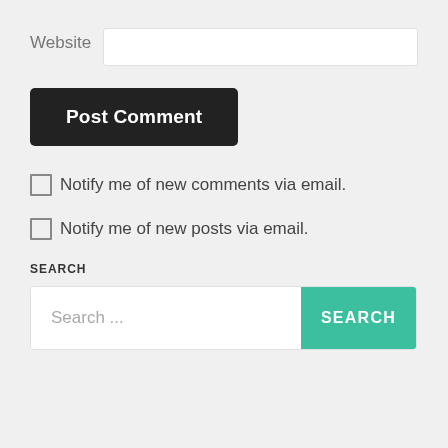Website
[Figure (other): Post Comment button — dark/black rounded rectangle button with white bold text 'Post Comment']
Notify me of new comments via email.
Notify me of new posts via email.
SEARCH
[Figure (other): Search bar with placeholder text 'Search ...' and a teal/green SEARCH button on the right]